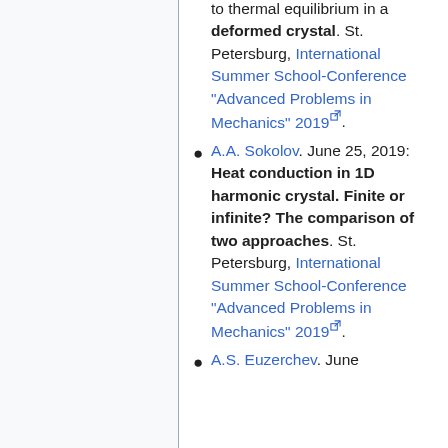to thermal equilibrium in a deformed crystal. St. Petersburg, International Summer School-Conference "Advanced Problems in Mechanics" 2019.
A.A. Sokolov. June 25, 2019: Heat conduction in 1D harmonic crystal. Finite or infinite? The comparison of two approaches. St. Petersburg, International Summer School-Conference "Advanced Problems in Mechanics" 2019.
A.S. Euzerchev. June...